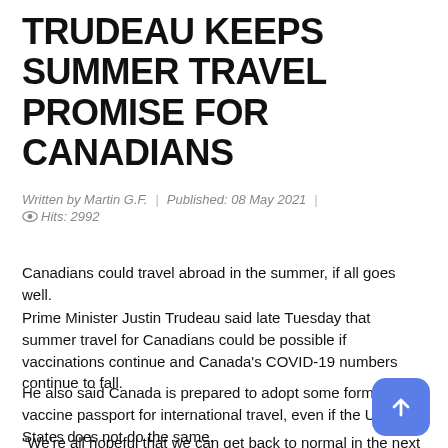TRUDEAU KEEPS SUMMER TRAVEL PROMISE FOR CANADIANS
Written by Martin G.F.  |  Published: 08 May 2021  |  👁 Hits: 2992
Canadians could travel abroad in the summer, if all goes well.
Prime Minister Justin Trudeau said late Tuesday that summer travel for Canadians could be possible if vaccinations continue and Canada's COVID-19 numbers continue to fall.
He also said Canada is prepared to adopt some form of vaccine passport for international travel, even if the United States does not do the same.
"We're all hopeful that we can get back to normal in the next few